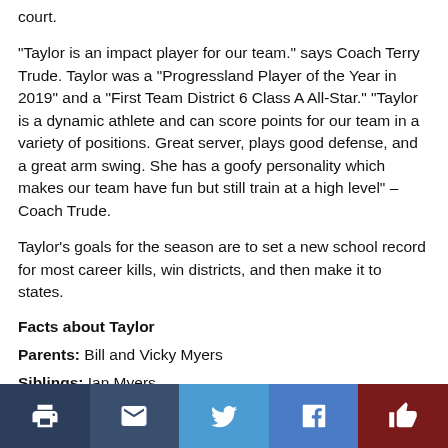court.
"Taylor is an impact player for our team." says Coach Terry Trude. Taylor was a "Progressland Player of the Year in 2019" and a "First Team District 6 Class A All-Star." "Taylor is a dynamic athlete and can score points for our team in a variety of positions. Great server, plays good defense, and a great arm swing. She has a goofy personality which makes our team have fun but still train at a high level" – Coach Trude.
Taylor's goals for the season are to set a new school record for most career kills, win districts, and then make it to states.
Facts about Taylor
Parents: Bill and Vicky Myers
Siblings: Ian Myers
Favorite Food: Crab Legs
Print | Email | Twitter | Facebook | Like